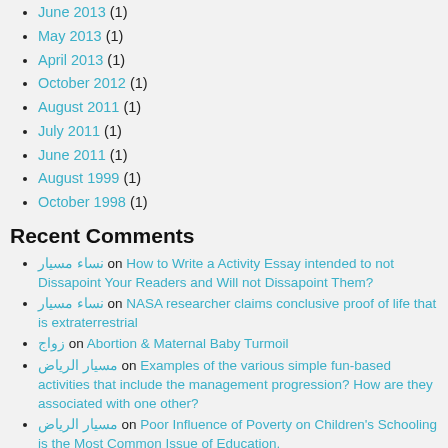June 2013 (1)
May 2013 (1)
April 2013 (1)
October 2012 (1)
August 2011 (1)
July 2011 (1)
June 2011 (1)
August 1999 (1)
October 1998 (1)
Recent Comments
نساء مسيار on How to Write a Activity Essay intended to not Dissapoint Your Readers and Will not Dissapoint Them?
نساء مسيار on NASA researcher claims conclusive proof of life that is extraterrestrial
زواج on Abortion & Maternal Baby Turmoil
مسيار الرياض on Examples of the various simple fun-based activities that include the management progression? How are they associated with one other?
مسيار الرياض on Poor Influence of Poverty on Children's Schooling is the Most Common Issue of Education.
Tags